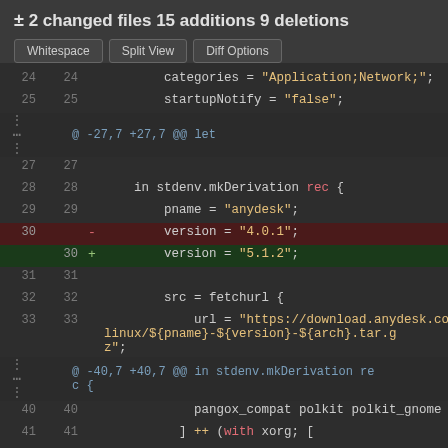± 2 changed files 15 additions 9 deletions
[Figure (screenshot): Code diff view showing version change from 4.0.1 to 5.1.2 in a Nix package derivation file, with diff controls (Whitespace, Split View, Diff Options) and multiple code lines including categories, startupNotify, stdenv.mkDerivation, pname, version, src, fetchurl, url, pangox_compat, polkit, and libxcb entries.]